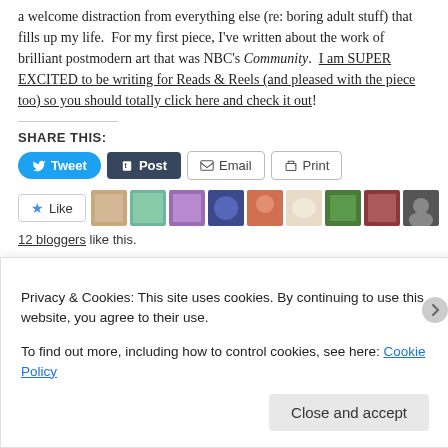a welcome distraction from everything else (re: boring adult stuff) that fills up my life.  For my first piece, I've written about the work of brilliant postmodern art that was NBC's Community.  I am SUPER EXCITED to be writing for Reads & Reels (and pleased with the piece too) so you should totally click here and check it out!
SHARE THIS:
[Figure (other): Social share buttons: Tweet (blue), Post (dark navy), Email (outline), Print (outline)]
[Figure (other): Like button and avatar strip showing 12 bloggers like this]
12 bloggers like this.
Privacy & Cookies: This site uses cookies. By continuing to use this website, you agree to their use.
To find out more, including how to control cookies, see here: Cookie Policy
Close and accept